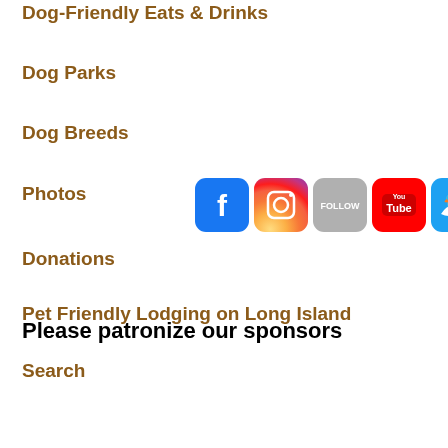Dog-Friendly Eats & Drinks
Dog Parks
Dog Breeds
Photos
[Figure (infographic): Row of 5 social media icons: Facebook (blue), Instagram (gradient purple-orange), Follow (grey), YouTube (red), Twitter (light blue)]
Donations
Pet Friendly Lodging on Long Island
Search
Please patronize our sponsors